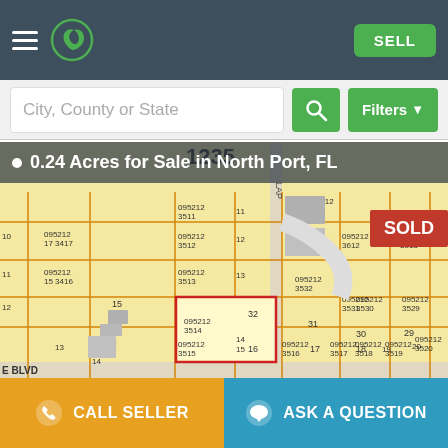[Figure (screenshot): Navigation bar with hamburger menu, green leaf logo, and SELL button on dark teal background]
[Figure (screenshot): Search bar with 'City, County or State' placeholder, green search button, and green Filters dropdown button]
0.24 Acres for Sale in North Port, FL
[Figure (map): Parcel map of North Port FL showing lot 095212 3514 highlighted with red border, marked SOLD in red badge. Surrounding parcels labeled with IDs including 095212 3511, 3512, 3513, 3514, 3515, 3516, 3517, 3518, 3519, 3520, 3529, 3530, 3531, 3532, 3533, 3534, 3612, 3613, 3416, 3417, 3414. Number 1235 visible at top. Street E BLVD visible at bottom.]
CALL SELLER
ASK A QUESTION